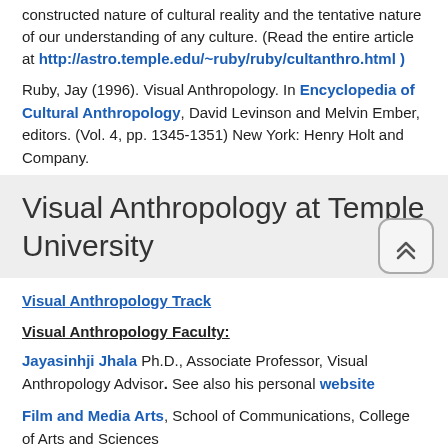constructed nature of cultural reality and the tentative nature of our understanding of any culture. (Read the entire article at http://astro.temple.edu/~ruby/ruby/cultanthro.html )
Ruby, Jay (1996). Visual Anthropology. In Encyclopedia of Cultural Anthropology, David Levinson and Melvin Ember, editors. (Vol. 4, pp. 1345-1351) New York: Henry Holt and Company.
Visual Anthropology at Temple University
Visual Anthropology Track
Visual Anthropology Faculty:
Jayasinhji Jhala Ph.D., Associate Professor, Visual Anthropology Advisor. See also his personal website
Film and Media Arts, School of Communications, College of Arts and Sciences